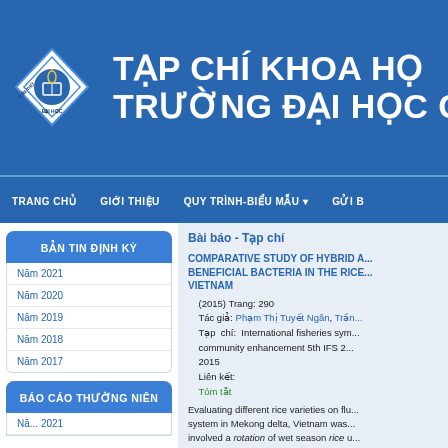TẠP CHÍ KHOA HỌC TRƯỜNG ĐẠI HỌC CẦN THƠ
TRANG CHỦ   GIỚI THIỆU   QUY TRÌNH-BIỂU MẪU   GỬI BÀI
BẢN TIN ĐỊNH KỲ
Năm 2021
Năm 2020
Năm 2019
Năm 2018
Năm 2017
BÁO CÁO THƯỜNG NIÊN
Bài báo - Tạp chí
COMPARATIVE STUDY OF HYBRID AND BENEFICIAL BACTERIA IN THE RICE-FISH SYSTEM IN VIETNAM
(2015) Trang: 290
Tác giả: Phạm Thị Tuyết Ngân, Trần...
Tạp chí: International fisheries symposium for community enhancement 5th IFS 2015
Liên kết:
Tóm tắt
Evaluating different rice varieties on flu... system in Mekong delta, Vietnam was... involved a rotation of wet season rice u... (control treatment), and dry season sh...